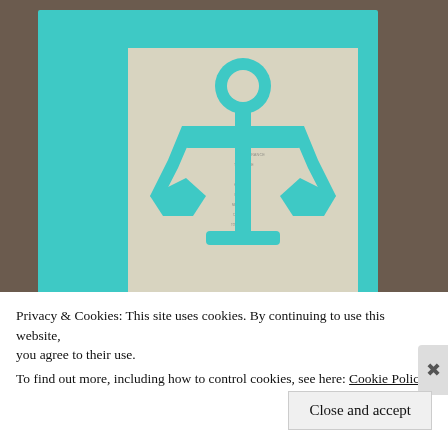[Figure (photo): A teal/turquoise book cover with a nautical anchor shape cut out of the cover, revealing a map page underneath. The word SEEK is printed in large white letters at the bottom of the cover. The book is photographed on a wooden surface.]
Privacy & Cookies: This site uses cookies. By continuing to use this website, you agree to their use.
To find out more, including how to control cookies, see here: Cookie Policy
Close and accept